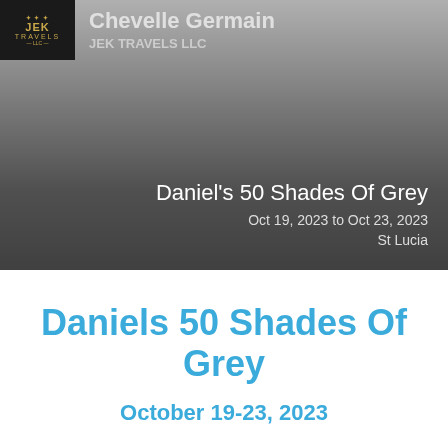[Figure (illustration): JEK Travels LLC logo: dark background with golden 'JEK TRAVELS' text and decorative elements]
Chevelle Germain
JEK TRAVELS LLC
[Figure (photo): Grey gradient hero banner with text overlay: Daniel's 50 Shades Of Grey, Oct 19, 2023 to Oct 23, 2023, St Lucia]
Daniels 50 Shades Of Grey
October 19-23, 2023